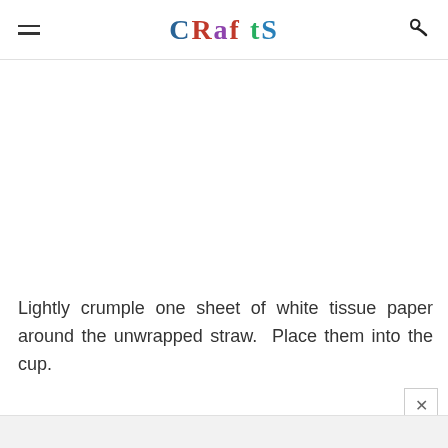CRAFTS
Lightly crumple one sheet of white tissue paper around the unwrapped straw.  Place them into the cup.